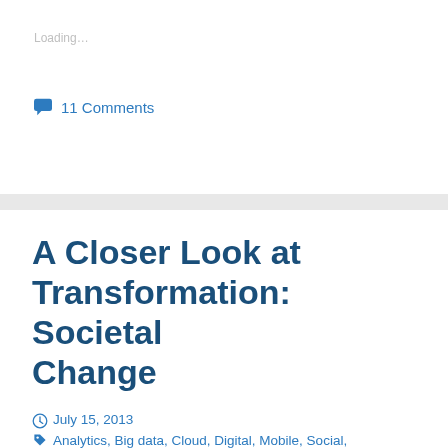Loading…
11 Comments
A Closer Look at Transformation: Societal Change
July 15, 2013   Analytics, Big data, Cloud, Digital, Mobile, Social, Transformation